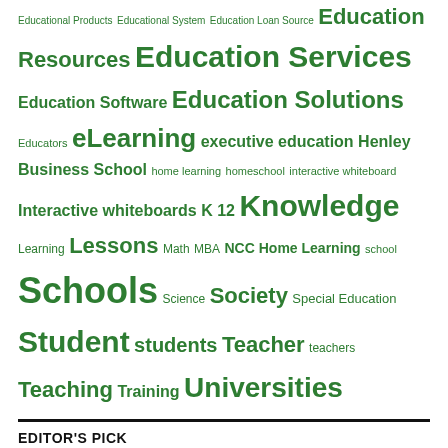Educational Products Educational System Education Loan Source Education Resources Education Services Education Software Education Solutions Educators eLearning executive education Henley Business School home learning homeschool interactive whiteboard Interactive whiteboards K 12 Knowledge Learning Lessons Math MBA NCC Home Learning school Schools Science Society Special Education Student students Teacher teachers Teaching Training Universities
EDITOR'S PICK
Digi Communications N.V. announces the approval of interim dividend distribution and updates regarding the 2022 Financial Calendar
Cruzeiro Safaris Kenya Tour Operator launches Family Vacations Safari Booking for Nairobi City Tours and Luxury Safaris
Cruzeiro Safaris Kenya offers Luxury Safaris and Nairobi City Tours